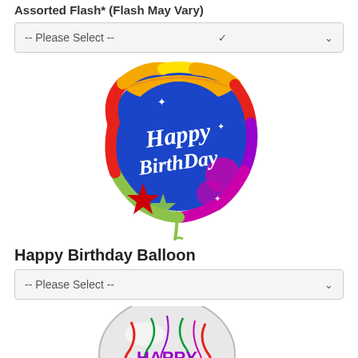Assorted Flash* (Flash May Vary)
-- Please Select --
[Figure (photo): Colorful round Happy Birthday foil balloon with blue center, rainbow border, stars, and festive decorations]
Happy Birthday Balloon
-- Please Select --
[Figure (photo): White round Happy Birthday foil balloon with colorful confetti streamers and purple HAPPY text]